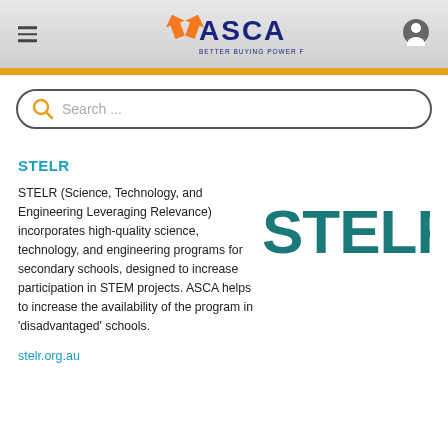ASCA — BETTER BUYING POWER FOR SCHOOLS
[Figure (screenshot): Search bar with magnifying glass icon and placeholder text 'Search ...']
STELR
STELR (Science, Technology, and Engineering Leveraging Relevance) incorporates high-quality science, technology, and engineering programs for secondary schools, designed to increase participation in STEM projects. ASCA helps to increase the availability of the program in 'disadvantaged' schools.
[Figure (logo): STELR logo in teal/dark cyan color]
stelr.org.au